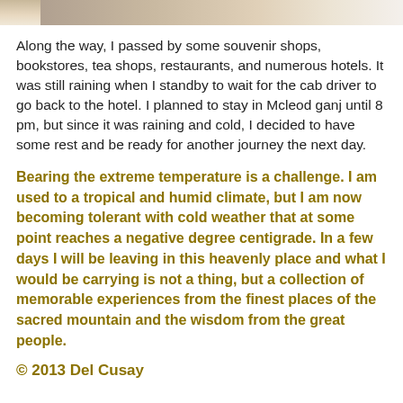[Figure (photo): Partial image visible at the top of the page, appears to be a outdoor/travel photo cropped at the bottom.]
Along the way, I passed by some souvenir shops, bookstores, tea shops, restaurants, and numerous hotels. It was still raining when I standby to wait for the cab driver to go back to the hotel. I planned to stay in Mcleod ganj until 8 pm, but since it was raining and cold, I decided to have some rest and be ready for another journey the next day.
Bearing the extreme temperature is a challenge. I am used to a tropical and humid climate, but I am now becoming tolerant with cold weather that at some point reaches a negative degree centigrade. In a few days I will be leaving in this heavenly place and what I would be carrying is not a thing, but a collection of memorable experiences from the finest places of the sacred mountain and the wisdom from the great people.
© 2013 Del Cusay